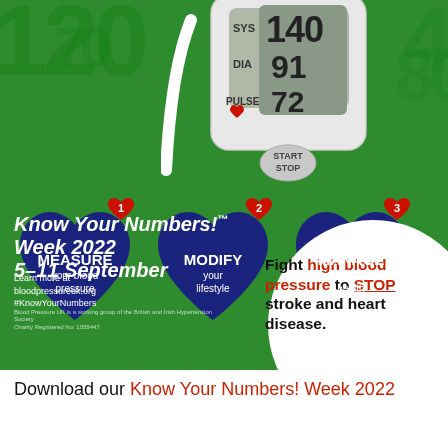[Figure (infographic): Know Your Numbers! Week 2022 health infographic showing a blood pressure monitor displaying SYS 140, DIA 91, PULSE 72, three blue heart shapes labeled: 1 MEASURE your blood pressure, 2 MODIFY your lifestyle, 3 MANAGE your health, on a green background with text 'Know Your Numbers! Week 2022 5-11 September' and 'Fight high blood pressure to STOP stroke and heart disease.']
Download our Know Your Numbers! Week 2022